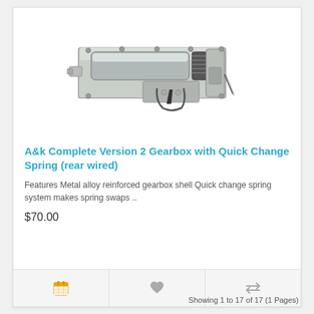[Figure (photo): A&k Complete Version 2 Gearbox with Quick Change Spring (rear wired) — metal gearbox component with cylinder, trigger assembly, spring mechanism, silver/grey metal housing]
A&k Complete Version 2 Gearbox with Quick Change Spring (rear wired)
Features Metal alloy reinforced gearbox shell Quick change spring system makes spring swaps ..
$70.00
Showing 1 to 17 of 17 (1 Pages)